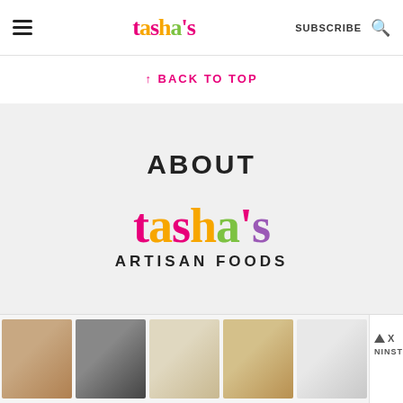tasha's — SUBSCRIBE [search icon]
↑ BACK TO TOP
ABOUT
[Figure (logo): tasha's Artisan Foods logo — colorful playful lettering spelling "tasha's" with ARTISAN FOODS below in black sans-serif capitals]
[Figure (photo): Advertisement banner showing five thumbnail images of shoes/sneakers on feet, with Ninstree ad badge and close button]